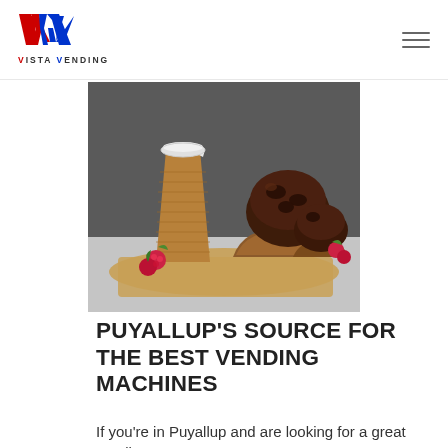VISTA VENDING
[Figure (photo): Photo of a kraft paper coffee cup with white lid next to chocolate muffins and raspberries on brown paper, on a gray surface with dark background]
PUYALLUP'S SOURCE FOR THE BEST VENDING MACHINES
If you're in Puyallup and are looking for a great vending